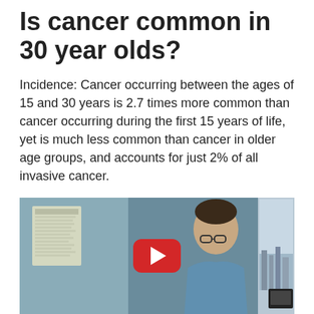Is cancer common in 30 year olds?
Incidence: Cancer occurring between the ages of 15 and 30 years is 2.7 times more common than cancer occurring during the first 15 years of life, yet is much less common than cancer in older age groups, and accounts for just 2% of all invasive cancer.
[Figure (screenshot): Video thumbnail showing a doctor in blue scrubs seated in an office/clinical setting with papers on wall and a window in background. A YouTube play button overlay is centered on the image.]